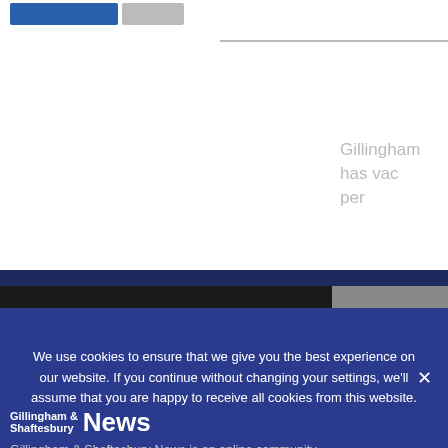Gillingham has vac per
ABOUT
[Figure (photo): Coronavirus/COVID-19 virus particle illustration and syringe photo on gray background]
Gillingham & Shaftesbury News
Gillingham & Shaftesbury News is an online community newspaper covering Gillingham, Shaftesbury and surrounding villages such as East Stour, Bourton and Marnhull in North
We use cookies to ensure that we give you the best experience on our website. If you continue without changing your settings, we'll assume that you are happy to receive all cookies from this website.